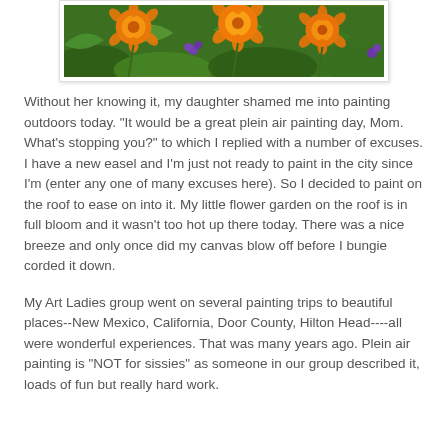[Figure (photo): Photo of orange and yellow flowers (marigolds) with green foliage and purple flowers in background, displayed in a white-bordered frame.]
Without her knowing it, my daughter shamed me into painting outdoors today.  "It would be a great plein air painting day, Mom.  What's stopping you?" to which I replied with a number of excuses.  I have a new easel and I'm just not ready to paint in the city since I'm  (enter any one of many excuses here).  So I decided to paint on the roof to ease on into it.  My little flower garden on the roof is in full bloom and it wasn't too hot up there today.  There was a nice breeze and only once did my canvas blow off before I bungie corded it down.
My Art Ladies group went on several painting trips to beautiful places--New Mexico, California, Door County, Hilton Head----all were wonderful experiences.  That was many years ago.  Plein air painting is "NOT for sissies" as someone in our group described it, loads of fun but really hard work.